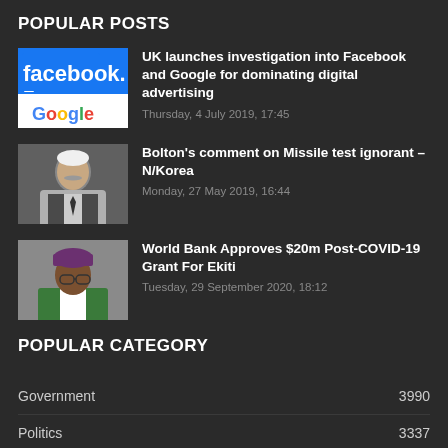POPULAR POSTS
[Figure (photo): Facebook and Google logos side by side on a tablet/phone screen]
UK launches investigation into Facebook and Google for dominating digital advertising
Thursday, 4 July 2019, 17:45
[Figure (photo): Man in suit with mustache, appears to be a political figure]
Bolton's comment on Missile test ignorant – N/Korea
Monday, 27 May 2019, 16:44
[Figure (photo): African man wearing a purple cap and glasses, appears to be a government official]
World Bank Approves $20m Post-COVID-19 Grant For Ekiti
Tuesday, 29 September 2020, 18:12
POPULAR CATEGORY
Government   3990
Politics   3337